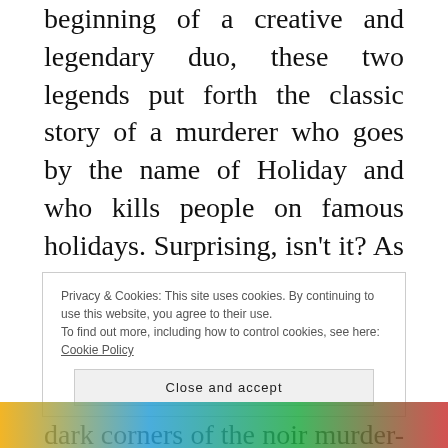beginning of a creative and legendary duo, these two legends put forth the classic story of a murderer who goes by the name of Holiday and who kills people on famous holidays. Surprising, isn't it? As Batman teams up with Commissioner Gordon and Harvey Dent, The Long Halloween explores the deep dark corners of the noir murder-mystery genre in comics and embarks readers on the hunt for a deadly killer.
Privacy & Cookies: This site uses cookies. By continuing to use this website, you agree to their use.
To find out more, including how to control cookies, see here: Cookie Policy
Close and accept
[Figure (photo): Partial view of a colorful image at the bottom of the page, showing orange, blue, and green tones.]